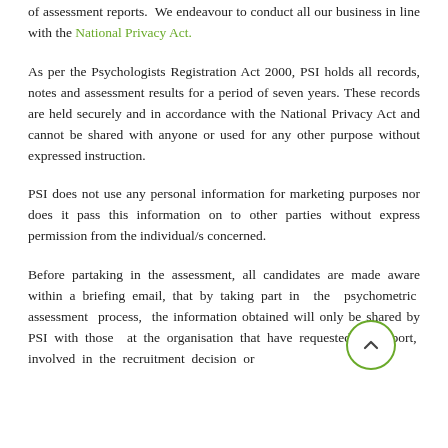of assessment reports.  We endeavour to conduct all our business in line with the National Privacy Act.
As per the Psychologists Registration Act 2000, PSI holds all records, notes and assessment results for a period of seven years. These records are held securely and in accordance with the National Privacy Act and cannot be shared with anyone or used for any other purpose without expressed instruction.
PSI does not use any personal information for marketing purposes nor does it pass this information on to other parties without express permission from the individual/s concerned.
Before partaking in the assessment, all candidates are made aware within a briefing email, that by taking part in the psychometric assessment process, the information obtained will only be shared by PSI with those at the organisation that have requested the report, involved in the recruitment decision or